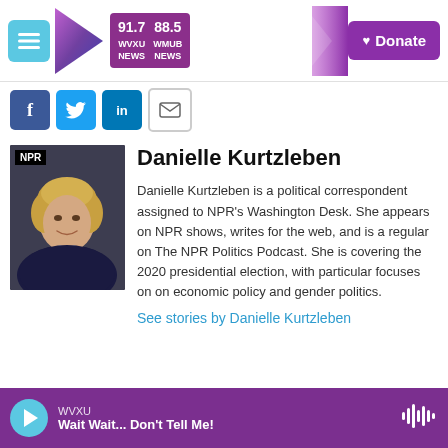[Figure (screenshot): WVXU NPR radio station navigation bar with hamburger menu, station logo showing 91.7 WVXU NEWS and 88.5 WMUB NEWS, and Donate button]
[Figure (infographic): Social media sharing buttons for Facebook, Twitter, LinkedIn, and email]
[Figure (photo): Headshot photo of Danielle Kurtzleben with NPR logo in background]
Danielle Kurtzleben
Danielle Kurtzleben is a political correspondent assigned to NPR's Washington Desk. She appears on NPR shows, writes for the web, and is a regular on The NPR Politics Podcast. She is covering the 2020 presidential election, with particular focuses on on economic policy and gender politics.
See stories by Danielle Kurtzleben
[Figure (screenshot): WVXU audio player bar at bottom showing 'Wait Wait... Don't Tell Me!' with play button and waveform icon]